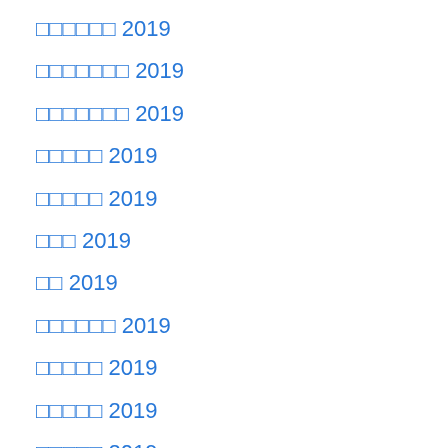□□□□□□ 2019
□□□□□□□ 2019
□□□□□□□ 2019
□□□□□ 2019
□□□□□ 2019
□□□ 2019
□□ 2019
□□□□□□ 2019
□□□□□ 2019
□□□□□ 2019
□□□□□ 2019
□□□□□□□ 2018
□□□□□□ 2018